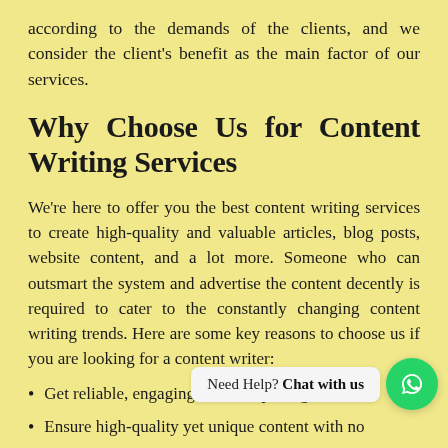according to the demands of the clients, and we consider the client's benefit as the main factor of our services.
Why Choose Us for Content Writing Services
We're here to offer you the best content writing services to create high-quality and valuable articles, blog posts, website content, and a lot more. Someone who can outsmart the system and advertise the content decently is required to cater to the constantly changing content writing trends. Here are some key reasons to choose us if you are looking for a content writer:
Get reliable, engaging, and compelling content
Ensure high-quality yet unique content with no